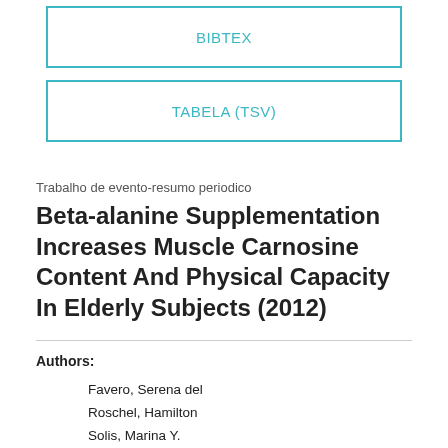BIBTEX
TABELA (TSV)
Trabalho de evento-resumo periodico
Beta-alanine Supplementation Increases Muscle Carnosine Content And Physical Capacity In Elderly Subjects (2012)
Authors:
Favero, Serena del
Roschel, Hamilton
Solis, Marina Y.